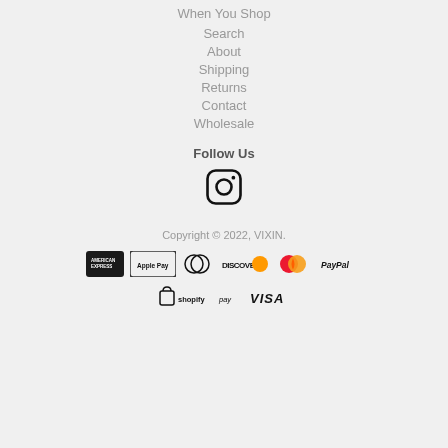When You Shop
Search
About
Shipping
Returns
Contact
Wholesale
Follow Us
[Figure (logo): Instagram icon]
Copyright © 2022, VIXIN.
[Figure (logo): Payment method logos: American Express, Apple Pay, Diners Club, Discover, Mastercard, PayPal, Shopify Pay, Visa]